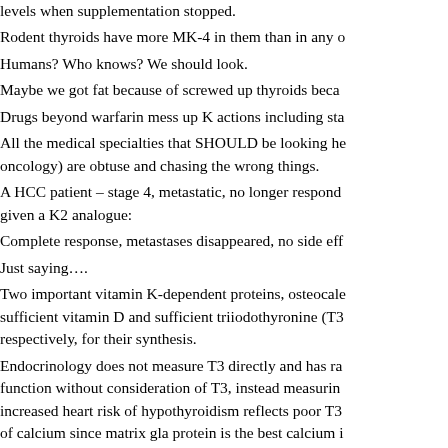levels when supplementation stopped.
Rodent thyroids have more MK-4 in them than in any o
Humans? Who knows? We should look.
Maybe we got fat because of screwed up thyroids beca
Drugs beyond warfarin mess up K actions including sta
All the medical specialties that SHOULD be looking he oncology) are obtuse and chasing the wrong things.
A HCC patient – stage 4, metastatic, no longer respond given a K2 analogue:
Complete response, metastases disappeared, no side eff
Just saying….
Two important vitamin K-dependent proteins, osteocale sufficient vitamin D and sufficient triiodothyronine (T3 respectively, for their synthesis.
Endocrinology does not measure T3 directly and has ra function without consideration of T3, instead measurin increased heart risk of hypothyroidism reflects poor T3 of calcium since matrix gla protein is the best calcium i arterial lining where coronary artery calcium (CAC) is